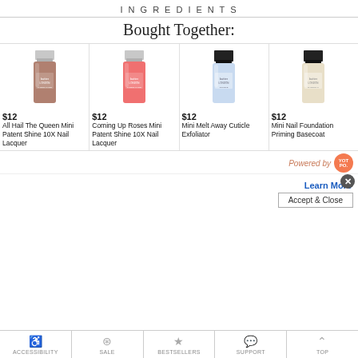INGREDIENTS
Bought Together:
[Figure (photo): Four nail polish bottles displayed side by side: All Hail The Queen (mauve/brown), Coming Up Roses (coral pink), Mini Melt Away Cuticle Exfoliator (light blue), Mini Nail Foundation Priming Basecoat (clear/champagne). Each has silver cap and butter LONDON branding.]
$12 All Hail The Queen Mini Patent Shine 10X Nail Lacquer | $12 Coming Up Roses Mini Patent Shine 10X Nail Lacquer | $12 Mini Melt Away Cuticle Exfoliator | $12 Mini Nail Foundation Priming Basecoat
Powered by [Yotpo logo]
Learn More
Accept & Close
ACCESSIBILITY | SALE | BESTSELLERS | SUPPORT | TOP